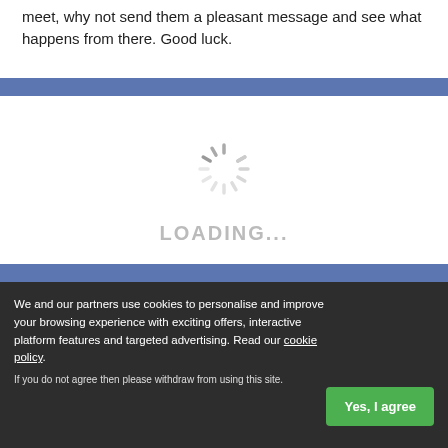meet, why not send them a pleasant message and see what happens from there. Good luck.
[Figure (screenshot): Loading spinner and LOADING... text on white background between two blue horizontal bars]
We and our partners use cookies to personalise and improve your browsing experience with exciting offers, interactive platform features and targeted advertising. Read our cookie policy.
If you do not agree then please withdraw from using this site.